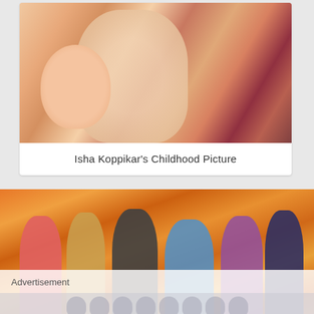[Figure (photo): A childhood photograph of Isha Koppikar as a young girl smiling, being held by an elderly woman who is also holding a baby, dressed in traditional Indian attire.]
Isha Koppikar's Childhood Picture
[Figure (photo): A group photograph of six people posing together at what appears to be an Indian wedding or celebration. They are dressed in colorful traditional Indian clothing. The background features orange draped fabric.]
Advertisement